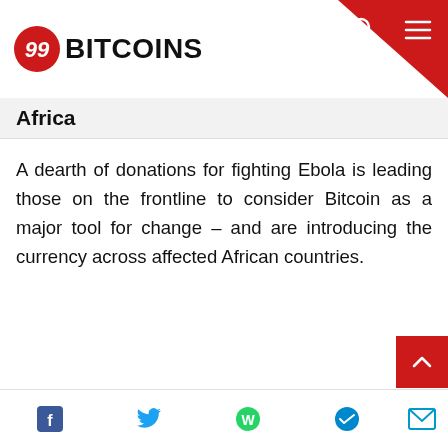99BITCOINS
Africa
A dearth of donations for fighting Ebola is leading those on the frontline to consider Bitcoin as a major tool for change – and are introducing the currency across affected African countries.
This website uses cookies to ensure you get the best experience on our website. Learn more
Accept